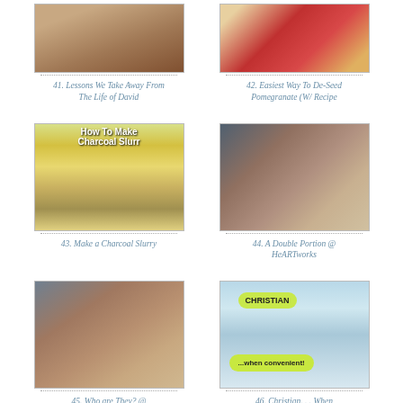[Figure (photo): Thumbnail image for item 41 - hands or life of David]
41. Lessons We Take Away From The Life of David
[Figure (photo): Thumbnail image for item 42 - pomegranate seeds]
42. Easiest Way To De-Seed Pomegranate (W/ Recipe
[Figure (photo): Thumbnail image for item 43 - child with text How To Make Charcoal Slurry]
43. Make a Charcoal Slurry
[Figure (illustration): Thumbnail image for item 44 - painted vase with flowers, HeARTworks]
44. A Double Portion @ HeARTworks
[Figure (photo): Thumbnail image for item 45 - Who are They? HeARTworks]
45. Who are They? @ HeARTworks
[Figure (photo): Thumbnail image for item 46 - woman with Christian when convenient signs]
46. Christian. . . When Convenient